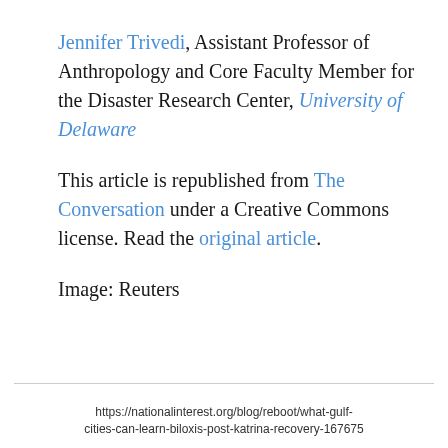Jennifer Trivedi, Assistant Professor of Anthropology and Core Faculty Member for the Disaster Research Center, University of Delaware
This article is republished from The Conversation under a Creative Commons license. Read the original article.
Image: Reuters
https://nationalinterest.org/blog/reboot/what-gulf-cities-can-learn-biloxis-post-katrina-recovery-167675